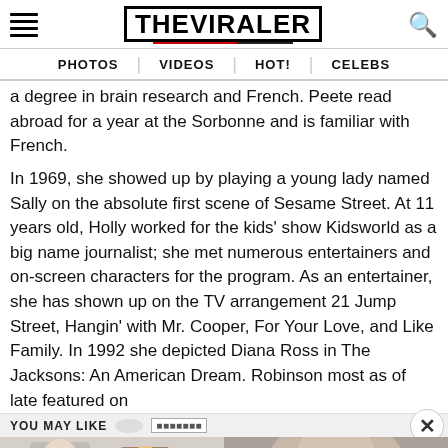THE VIRALER
PHOTOS | VIDEOS | HOT! | CELEBS
a degree in brain research and French. Peete read abroad for a year at the Sorbonne and is familiar with French.
In 1969, she showed up by playing a young lady named Sally on the absolute first scene of Sesame Street. At 11 years old, Holly worked for the kids' show Kidsworld as a big name journalist; she met numerous entertainers and on-screen characters for the program. As an entertainer, she has shown up on the TV arrangement 21 Jump Street, Hangin' with Mr. Cooper, For Your Love, and Like Family. In 1992 she depicted Diana Ross in The Jacksons: An American Dream. Robinson most as of late featured on
YOU MAY LIKE
[Figure (photo): Two thumbnail images side by side below YOU MAY LIKE bar: left shows two people (man with brown hair and cartoon/illustrated figure), right shows a close-up of a person's face/neck.]